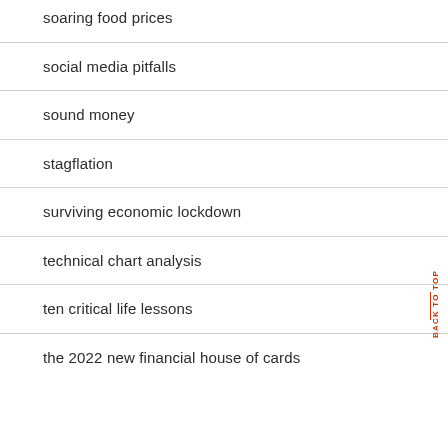soaring food prices
social media pitfalls
sound money
stagflation
surviving economic lockdown
technical chart analysis
ten critical life lessons
the 2022 new financial house of cards